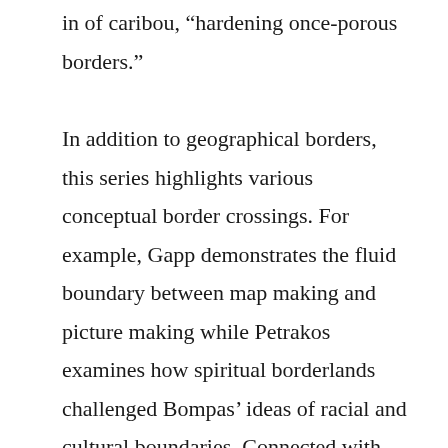in of caribou, “hardening once-porous borders.”
In addition to geographical borders, this series highlights various conceptual border crossings. For example, Gapp demonstrates the fluid boundary between map making and picture making while Petrakos examines how spiritual borderlands challenged Bompas’ ideas of racial and cultural boundaries. Connected with this concept of the spiritual borderland is the suggestions